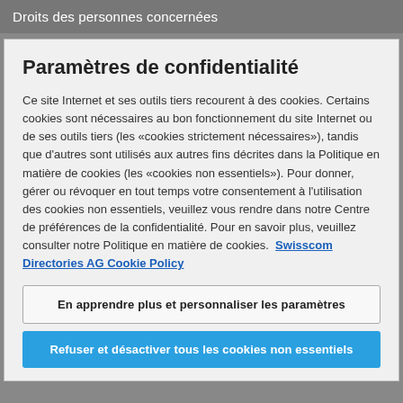Droits des personnes concernées
Paramètres de confidentialité
Ce site Internet et ses outils tiers recourent à des cookies. Certains cookies sont nécessaires au bon fonctionnement du site Internet ou de ses outils tiers (les «cookies strictement nécessaires»), tandis que d'autres sont utilisés aux autres fins décrites dans la Politique en matière de cookies (les «cookies non essentiels»). Pour donner, gérer ou révoquer en tout temps votre consentement à l'utilisation des cookies non essentiels, veuillez vous rendre dans notre Centre de préférences de la confidentialité. Pour en savoir plus, veuillez consulter notre Politique en matière de cookies.  Swisscom Directories AG Cookie Policy
En apprendre plus et personnaliser les paramètres
Refuser et désactiver tous les cookies non essentiels